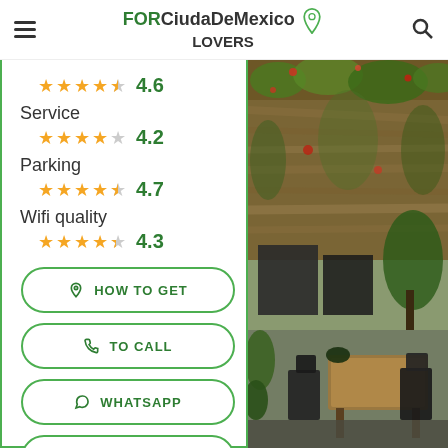FOR Ciudad De Mexico LOVERS
4.6
Service
4.2
Parking
4.7
Wifi quality
4.3
HOW TO GET
TO CALL
WHATSAPP
WEB PAGE
[Figure (photo): Outdoor restaurant area with thatched roof covered in hanging dried plants and flowers, wooden tables and dark chairs visible below, green plants in background]